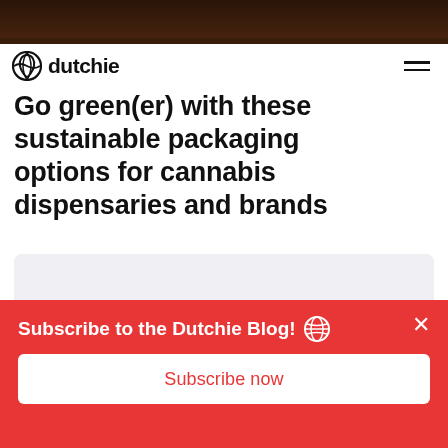[Figure (photo): Dark brown top image strip (top of a previous article image)]
dutchie
Go green(er) with these sustainable packaging options for cannabis dispensaries and brands
[Figure (illustration): Isometric illustration showing a red map pin with a dollar sign, surrounded by bar chart columns and a dashed circle on a light grey background]
Subscribe to the Dutchie Blog!
Subscribe now